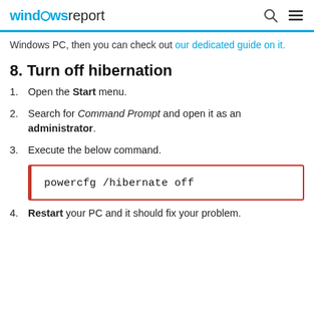windowsreport
Windows PC, then you can check out our dedicated guide on it.
8. Turn off hibernation
Open the Start menu.
Search for Command Prompt and open it as an administrator.
Execute the below command.
powercfg /hibernate off
Restart your PC and it should fix your problem.